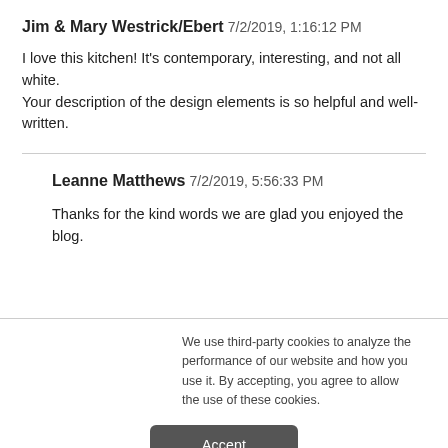Jim & Mary Westrick/Ebert 7/2/2019, 1:16:12 PM
I love this kitchen! It's contemporary, interesting, and not all white. Your description of the design elements is so helpful and well-written.
Leanne Matthews 7/2/2019, 5:56:33 PM
Thanks for the kind words we are glad you enjoyed the blog.
We use third-party cookies to analyze the performance of our website and how you use it. By accepting, you agree to allow the use of these cookies.
Accept